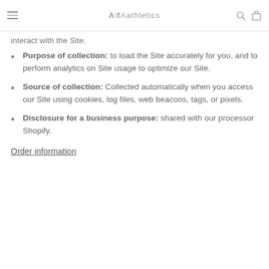AlfAathletics
interact with the Site.
Purpose of collection: to load the Site accurately for you, and to perform analytics on Site usage to optimize our Site.
Source of collection: Collected automatically when you access our Site using cookies, log files, web beacons, tags, or pixels.
Disclosure for a business purpose: shared with our processor Shopify.
Order information